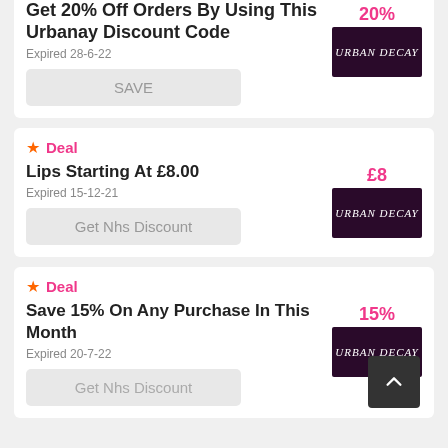Get 20% Off Orders By Using This Urbanay Discount Code
Expired 28-6-22
SAVE
Deal - Lips Starting At £8.00
Expired 15-12-21
Get Nhs Discount
Deal - Save 15% On Any Purchase In This Month
Expired 20-7-22
Get Nhs Discount